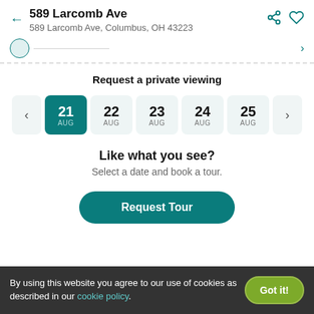589 Larcomb Ave
589 Larcomb Ave, Columbus, OH 43223
Request a private viewing
[Figure (other): Date selector row showing dates 21-25 AUG with left/right navigation arrows; 21 AUG is selected (dark teal background)]
Like what you see?
Select a date and book a tour.
Request Tour
By using this website you agree to our use of cookies as described in our cookie policy.